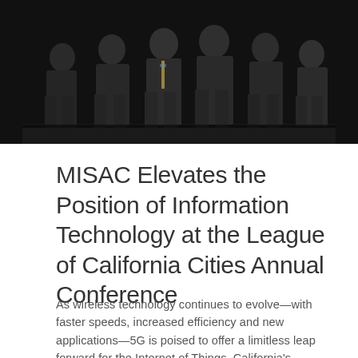[Figure (photo): Group of several men in dark suits standing together on a stage with a dark background, likely at a conference or formal event.]
MISAC Elevates the Position of Information Technology at the League of California Cities Annual Conference
As wireless technology continues to evolve—with faster speeds, increased efficiency and new applications—5G is poised to offer a limitless leap forward for the Internet of Things. California's municipalities must play a key role in implementing this extraordi…